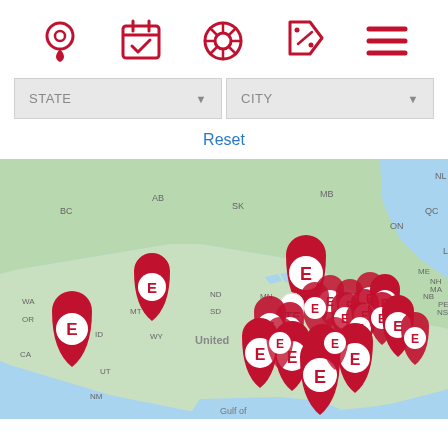[Figure (infographic): Navigation toolbar with 5 red icons: map pin, calendar with checkmark, tire/wheel, price tag with percent, hamburger menu]
[Figure (screenshot): Two dropdown filter boxes labeled STATE and CITY with dropdown arrows]
Reset
[Figure (map): Google Maps view of North America (Canada, USA, Gulf of Mexico visible) with many red map pin markers each containing a white letter E (Expressway/Evans Tires logo), clustered mainly in the eastern and southern United States, with a few in the west. Canadian provinces labeled AB, BC, SK, MB, ON, QC, NL, NB, NS, PE. US states labeled WA, OR, CA, NV, MT, ID, WY, NM, ND, SD, MN, NH, MA, ME, FL. 'United' text visible on map. 'Gulf of' text visible at bottom.]